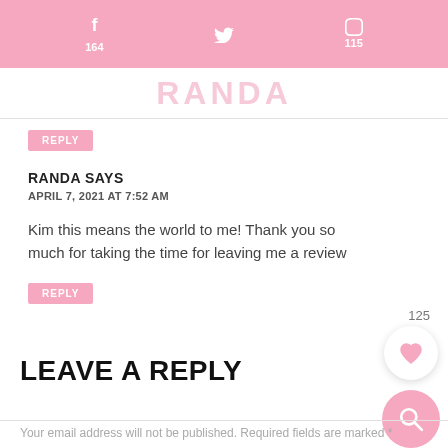f 164   [twitter] [pinterest] 115
RANDA
REPLY
RANDA SAYS
APRIL 7, 2021 AT 7:52 AM
Kim this means the world to me! Thank you so much for taking the time for leaving me a review
REPLY
LEAVE A REPLY
Your email address will not be published. Required fields are marked *